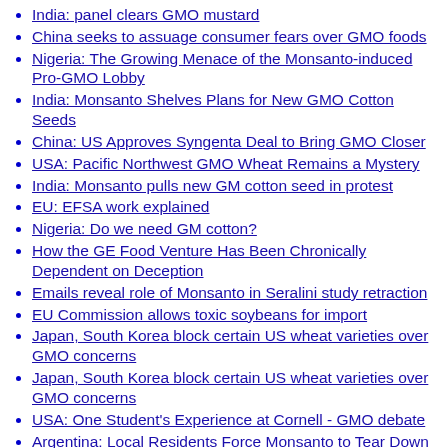India: panel clears GMO mustard
China seeks to assuage consumer fears over GMO foods
Nigeria: The Growing Menace of the Monsanto-induced Pro-GMO Lobby
India: Monsanto Shelves Plans for New GMO Cotton Seeds
China: US Approves Syngenta Deal to Bring GMO Closer
USA: Pacific Northwest GMO Wheat Remains a Mystery
India: Monsanto pulls new GM cotton seed in protest
EU: EFSA work explained
Nigeria: Do we need GM cotton?
How the GE Food Venture Has Been Chronically Dependent on Deception
Emails reveal role of Monsanto in Seralini study retraction
EU Commission allows toxic soybeans for import
Japan, South Korea block certain US wheat varieties over GMO concerns
Japan, South Korea block certain US wheat varieties over GMO concerns
USA: One Student's Experience at Cornell - GMO debate
Argentina: Local Residents Force Monsanto to Tear Down GMO Seed Plant
China backs GMO soybeans in push for high-tech agriculture
USA: Obama Signs Historic GMO Labeling Bill
Puerto Rico: Corporate Welfare Paradise for GMO